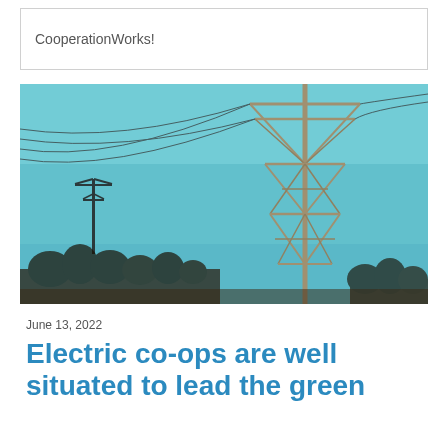CooperationWorks!
[Figure (photo): Photograph of large electrical transmission towers/pylons with power lines against a clear blue sky, with bare trees visible in the background and a smaller pylon silhouetted in the distance.]
June 13, 2022
Electric co-ops are well situated to lead the green